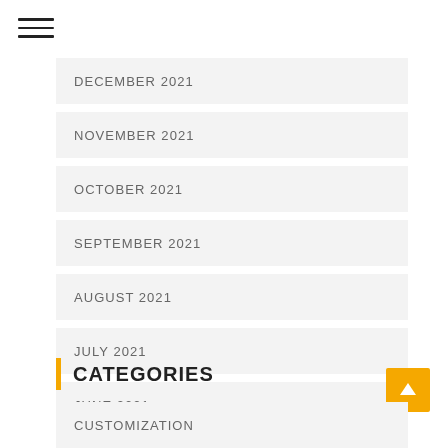[Figure (other): Hamburger menu icon with three horizontal lines]
DECEMBER 2021
NOVEMBER 2021
OCTOBER 2021
SEPTEMBER 2021
AUGUST 2021
JULY 2021
JUNE 2021
CATEGORIES
CUSTOMIZATION